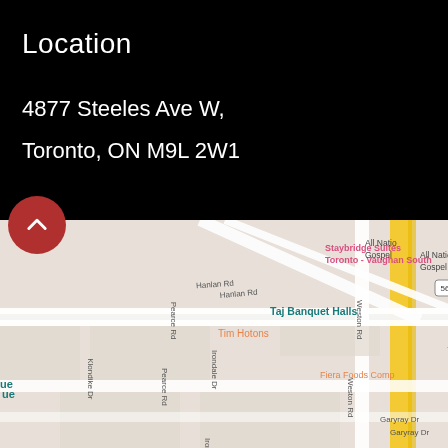Location
4877 Steeles Ave W,
Toronto, ON M9L 2W1
[Figure (map): Google Maps screenshot showing intersection near 4877 Steeles Ave W, Toronto ON M9L 2W1. Visible landmarks include Staybridge Suites Toronto - Vaughan South, Tim Hortons, Taj Banquet Halls, Fiera Foods Company, All Nations Gospel. Streets visible include Hanlan Rd, Pearce Rd, Weston Rd, Signet Dr, Garyray Dr, Irondale Dr, Klondike Dr. A red location pin is placed at the site.]